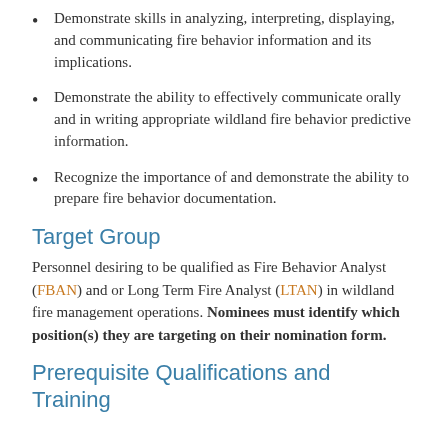Demonstrate skills in analyzing, interpreting, displaying, and communicating fire behavior information and its implications.
Demonstrate the ability to effectively communicate orally and in writing appropriate wildland fire behavior predictive information.
Recognize the importance of and demonstrate the ability to prepare fire behavior documentation.
Target Group
Personnel desiring to be qualified as Fire Behavior Analyst (FBAN) and or Long Term Fire Analyst (LTAN) in wildland fire management operations. Nominees must identify which position(s) they are targeting on their nomination form.
Prerequisite Qualifications and Training